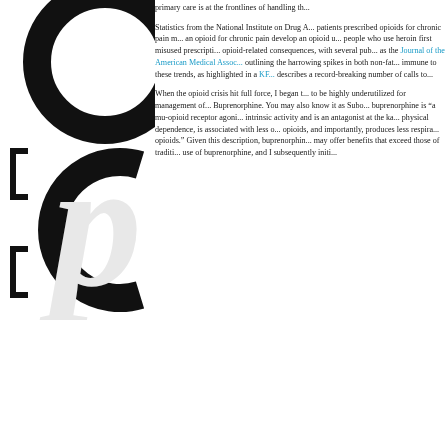[Figure (logo): Large stylized logo letters in black, partially visible on left side of page]
primary care is at the frontlines of handling th...
Statistics from the National Institute on Drug A... patients prescribed opioids for chronic pain m... an opioid for chronic pain develop an opioid u... people who use heroin first misused prescripti... opioid-related consequences, with several pub... as the Journal of the American Medical Assoc... outlining the harrowing spikes in both non-fat... immune to these trends, as highlighted in a KF... describes a record-breaking number of calls to...
When the opioid crisis hit full force, I began t... to be highly underutilized for management of... Buprenorphine. You may also know it as Subo... buprenorphine is "a mu-opioid receptor agoni... intrinsic activity and is an antagonist at the ka... physical dependence, is associated with less o... opioids, and importantly, produces less respira... opioids." Given this description, buprenorphin... may offer benefits that exceed those of traditi... use of buprenorphine, and I subsequently initi...